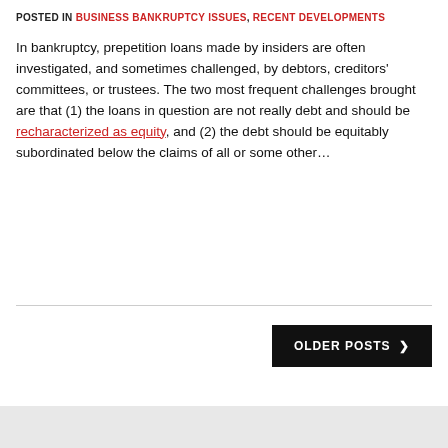POSTED IN BUSINESS BANKRUPTCY ISSUES, RECENT DEVELOPMENTS
In bankruptcy, prepetition loans made by insiders are often investigated, and sometimes challenged, by debtors, creditors' committees, or trustees. The two most frequent challenges brought are that (1) the loans in question are not really debt and should be recharacterized as equity, and (2) the debt should be equitably subordinated below the claims of all or some other…
OLDER POSTS